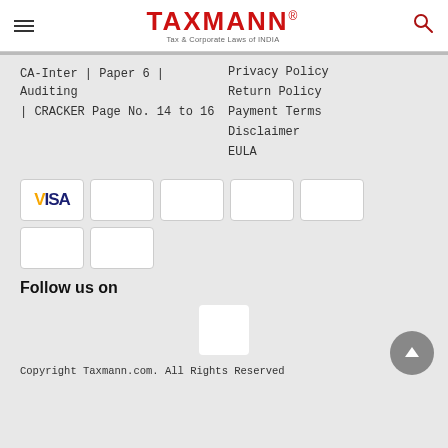TAXMANN® Tax & Corporate Laws of INDIA
CA-Inter | Paper 6 | Auditing | CRACKER Page No. 14 to 16
Privacy Policy
Return Policy
Payment Terms
Disclaimer
EULA
[Figure (other): Payment method icons including VISA and other card logos]
Follow us on
[Figure (other): Social media icon placeholder]
Copyright Taxmann.com. All Rights Reserved